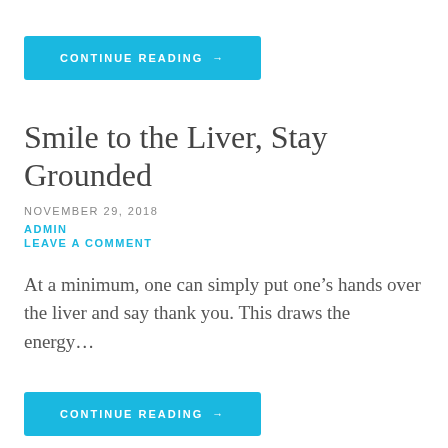CONTINUE READING →
Smile to the Liver, Stay Grounded
NOVEMBER 29, 2018
ADMIN
LEAVE A COMMENT
At a minimum, one can simply put one's hands over the liver and say thank you. This draws the energy…
CONTINUE READING →
Sacrum Spiraling, Knee Raises